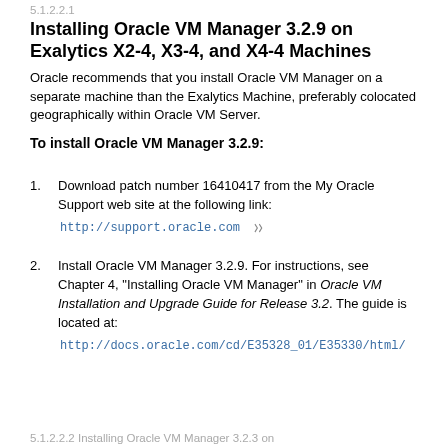5.1.2.2.1 Installing Oracle VM Manager 3.2.9 on Exalytics X2-4, X3-4, and X4-4 Machines
Oracle recommends that you install Oracle VM Manager on a separate machine than the Exalytics Machine, preferably colocated geographically within Oracle VM Server.
To install Oracle VM Manager 3.2.9:
Download patch number 16410417 from the My Oracle Support web site at the following link:
http://support.oracle.com
Install Oracle VM Manager 3.2.9. For instructions, see Chapter 4, "Installing Oracle VM Manager" in Oracle VM Installation and Upgrade Guide for Release 3.2. The guide is located at:
http://docs.oracle.com/cd/E35328_01/E35330/html/
5.1.2.2.2 Installing Oracle VM Manager 3.2.3 on